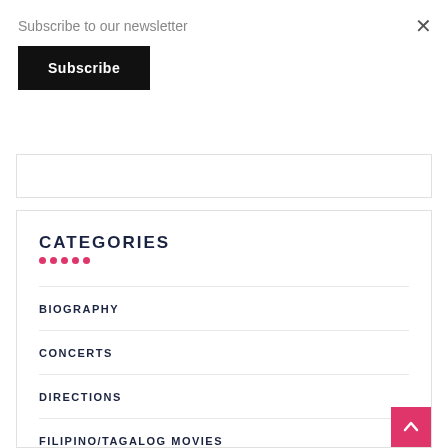Subscribe to our newsletter
Subscribe
×
CATEGORIES
BIOGRAPHY
CONCERTS
DIRECTIONS
FILIPINO/TAGALOG MOVIES